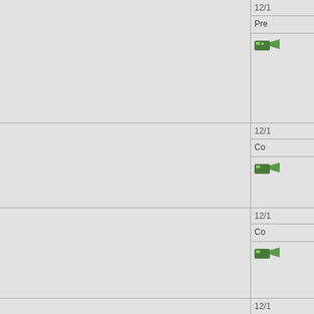[Figure (screenshot): Photography forum user listing showing profile pictures and user details. Visible users: RulerZigzag (Nikon D750, Nikon AF-S NIKKOR...), naked_eye (Nikon D50, Nikon AF-S DX Zoom-...), BarbB (Canon EOS-5D Mark III, Canon EF 24-105mm...), SnapperL (Canon EOS-40D, Canon EF 28-135mm...), seebrown (Canon EOS-30D, Canon EF 24-105mm...), rider (Canon EOS-7D, Canon EF 500mm f/4...). Each row has date (12/1...), a snippet of comment text, and a small tool icon. Left portion of page is gray background.]